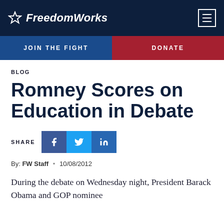FreedomWorks
JOIN THE FIGHT | DONATE
BLOG
Romney Scores on Education in Debate
SHARE [Facebook] [Twitter] [LinkedIn]
By: FW Staff • 10/08/2012
During the debate on Wednesday night, President Barack Obama and GOP nominee